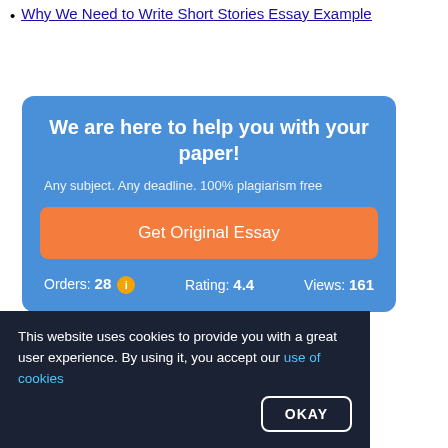Why We Need to Write Short Stories Essay Example
[Figure (infographic): Blue promotional box with title 'We are here to help you with your paper!', subtitle 'Any subject. Any deadline. 100% plagiarism free', orange 'Get Original Essay' button, and stats row showing Orders: 28, Rating: 4.4, Views: 161]
This website uses cookies to provide you with a great user experience. By using it, you accept our use of cookies